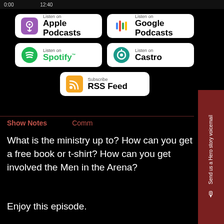0:00  12:40  ...
[Figure (screenshot): Listen on Apple Podcasts badge - white rounded rectangle with purple podcast icon]
[Figure (screenshot): Listen on Google Podcasts badge - white rounded rectangle with colorful bar chart icon]
[Figure (screenshot): Listen on Spotify badge - white rounded rectangle with green Spotify icon]
[Figure (screenshot): Listen on Castro badge - white rounded rectangle with teal Castro icon]
[Figure (screenshot): Subscribe RSS Feed badge - white rounded rectangle with orange RSS icon]
Show Notes
What is the ministry up to? How can you get a free book or t-shirt? How can you get involved the Men in the Arena?
Enjoy this episode.
Send us a Hero story voicemail